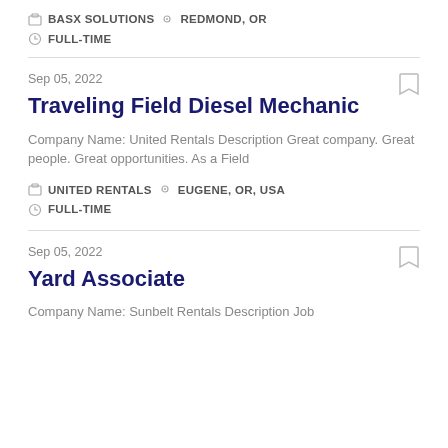BASX SOLUTIONS   REDMOND, OR   FULL-TIME
Sep 05, 2022
Traveling Field Diesel Mechanic
Company Name: United Rentals Description Great company. Great people. Great opportunities. As a Field
UNITED RENTALS   EUGENE, OR, USA   FULL-TIME
Sep 05, 2022
Yard Associate
Company Name: Sunbelt Rentals Description Job